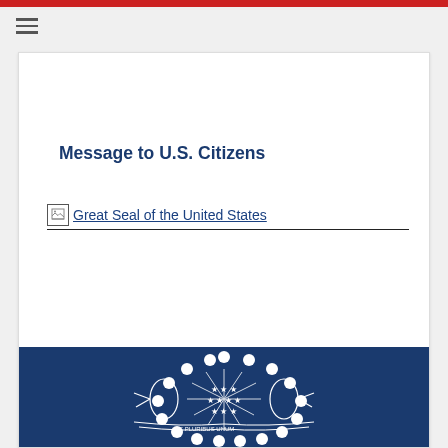Message to U.S. Citizens
[Figure (logo): Great Seal of the United States broken image placeholder with text link]
Security Alert: Threats at the Serena Hotel
[Figure (logo): U.S. Department of State Great Seal emblem in white on dark navy blue background banner]